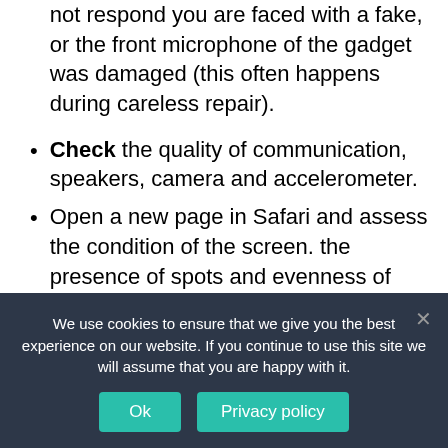not respond you are faced with a fake, or the front microphone of the gadget was damaged (this often happens during careless repair).
Check the quality of communication, speakers, camera and accelerometer.
Open a new page in Safari and assess the condition of the screen. the presence of spots and evenness of backlighting.
You can also check the authenticity of iPhone by using the App Store: fake or illegally reflashed devices are not capable of downloading applications from it.
We use cookies to ensure that we give you the best experience on our website. If you continue to use this site we will assume that you are happy with it.